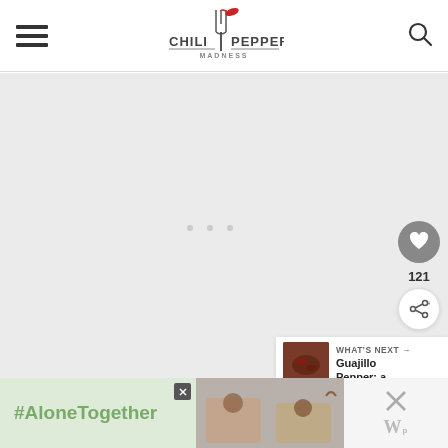Chili Pepper Madness - header with hamburger menu and search icon
[Figure (logo): Chili Pepper Madness logo with red chili pepper on top of a fork, text 'CHILI PEPPER MADNESS' below]
[Figure (photo): Large gray content area - main article image placeholder]
121
WHAT'S NEXT → Guajillo Pepper: a...
[Figure (screenshot): Advertisement banner showing #AloneTogether with photo of people on video call]